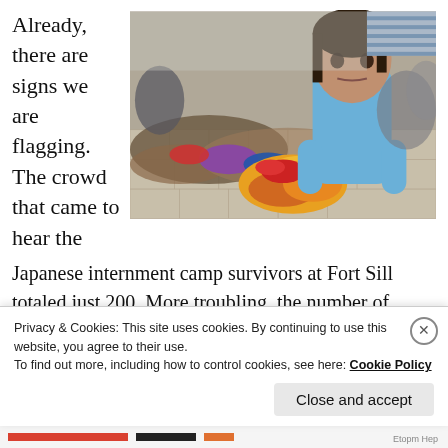Already, there are signs we are flagging. The crowd that came to hear the
[Figure (photo): A young girl in a light blue jacket holds a colorful bundle. Behind her are piles of clothing and people sitting on the ground. The setting appears to be an outdoor area with paving stones.]
Japanese internment camp survivors at Fort Sill totaled just 200. More troubling, the number of participants for the 185 Close the Camp rallies held across the nation on July 2, was in the tens of thousands, not the hundreds of thousands one might expect to protest the horrific camp
Privacy & Cookies: This site uses cookies. By continuing to use this website, you agree to their use.
To find out more, including how to control cookies, see here: Cookie Policy
Close and accept